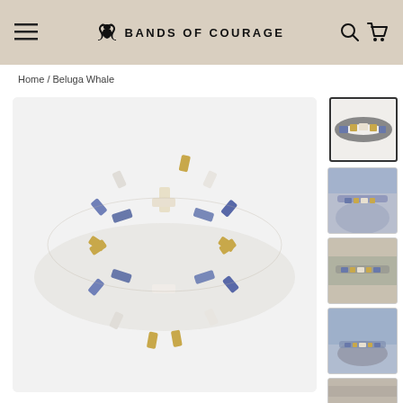BANDS OF COURAGE — navigation header with logo, menu icon, search and cart icons
Home / Beluga Whale
[Figure (photo): Close-up product photo of a stretch bracelet made of rectangular tile beads in blue, white, and gold colors arranged in a striped pattern, shown on a light grey background]
[Figure (photo): Thumbnail 1: Product flat lay of bracelet on white background, showing blue, white and gold tile pattern]
[Figure (photo): Thumbnail 2: Lifestyle photo of bracelet worn on wrist, light blue shirt in background]
[Figure (photo): Thumbnail 3: Lifestyle photo of bracelet stacked on wrist]
[Figure (photo): Thumbnail 4: Lifestyle photo of bracelet on wrist with light blue fabric]
[Figure (photo): Thumbnail 5: Partial lifestyle photo, partially visible]